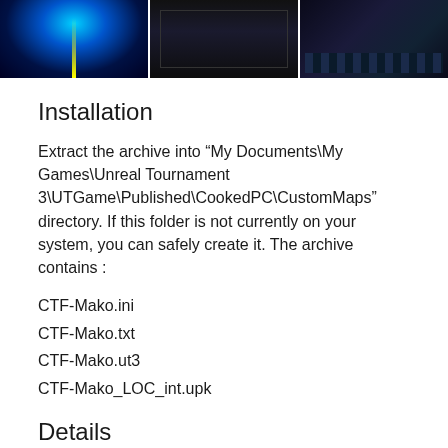[Figure (screenshot): Three side-by-side screenshots of a sci-fi game map (CTF-Mako), showing interior corridors and hallways with blue lighting and futuristic architecture.]
Installation
Extract the archive into “My Documents\My Games\Unreal Tournament 3\UTGame\Published\CookedPC\CustomMaps” directory. If this folder is not currently on your system, you can safely create it. The archive contains :
CTF-Mako.ini
CTF-Mako.txt
CTF-Mako.ut3
CTF-Mako_LOC_int.upk
Details
For this map, I inspire myself from one of my favorite